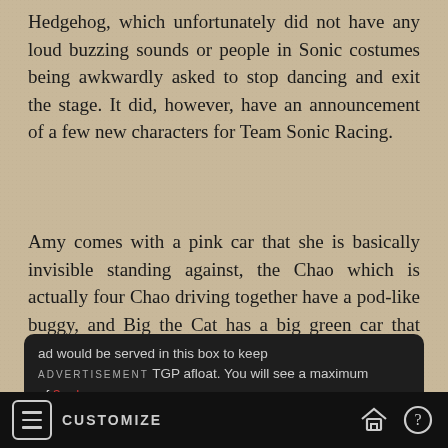Hedgehog, which unfortunately did not have any loud buzzing sounds or people in Sonic costumes being awkwardly asked to stop dancing and exit the stage. It did, however, have an announcement of a few new characters for Team Sonic Racing.
Amy comes with a pink car that she is basically invisible standing against, the Chao which is actually four Chao driving together have a pod-like buggy, and Big the Cat has a big green car that looks like Froggy and has a fishing rod in the back.
Team Sonic Racing later this year on Xbox One, PlayStation 4, PC, and Switch.
[Figure (other): Advertisement box with dark background showing text: 'ad would be served in this box to keep TGP afloat. You will see a maximum of 3 ads per page.' with ADVERTISEMENT label overlay]
CUSTOMIZE (with menu, home, and help icons)